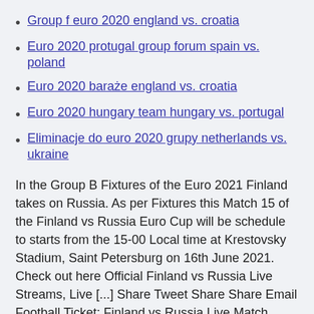Group f euro 2020 england vs. croatia
Euro 2020 protugal group forum spain vs. poland
Euro 2020 baraże england vs. croatia
Euro 2020 hungary team hungary vs. portugal
Eliminacje do euro 2020 grupy netherlands vs. ukraine
In the Group B Fixtures of the Euro 2021 Finland takes on Russia. As per Fixtures this Match 15 of the Finland vs Russia Euro Cup will be schedule to starts from the 15-00 Local time at Krestovsky Stadium, Saint Petersburg on 16th June 2021. Check out here Official Finland vs Russia Live Streams, Live [...] Share Tweet Share Share Email Football Ticket: Finland vs Russia Live Match Streaming | UEFA Euro 2020 Live Matches |